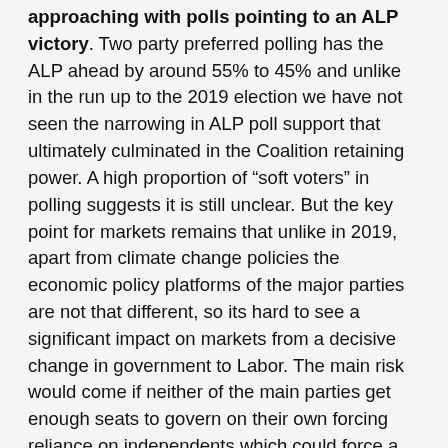approaching with polls pointing to an ALP victory. Two party preferred polling has the ALP ahead by around 55% to 45% and unlike in the run up to the 2019 election we have not seen the narrowing in ALP poll support that ultimately culminated in the Coalition retaining power. A high proportion of “soft voters” in polling suggests it is still unclear. But the key point for markets remains that unlike in 2019, apart from climate change policies the economic policy platforms of the major parties are not that different, so its hard to see a significant impact on markets from a decisive change in government to Labor. The main risk would come if neither of the main parties get enough seats to govern on their own forcing reliance on independents which could force a new government down a less business friendly path, such as the Greens demanding an ALP led minority government implement their proposed super profits taxes.